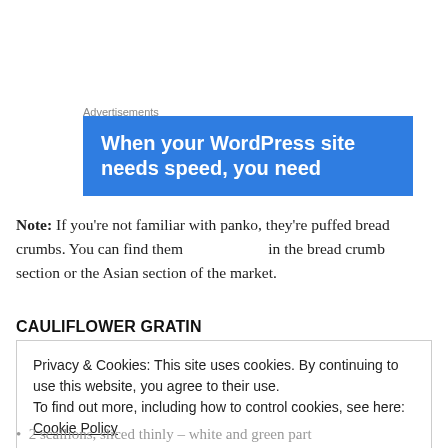[Figure (screenshot): Blue advertisement banner with white bold text: 'When your WordPress site needs speed, you need']
Note: If you’re not familiar with panko, they’re puffed bread crumbs.  You can find them in the bread crumb section or the Asian section of the market.
CAULIFLOWER GRATIN
Privacy & Cookies: This site uses cookies. By continuing to use this website, you agree to their use.
To find out more, including how to control cookies, see here: Cookie Policy
Close and accept
2 scallions, sliced thinly – white and green part